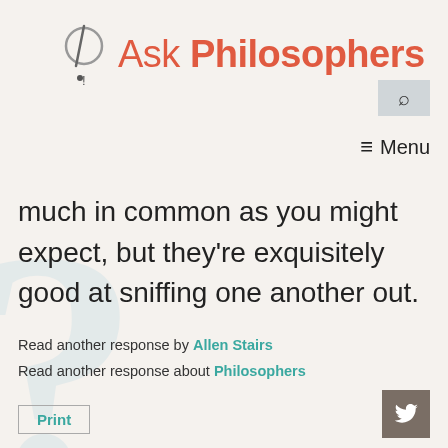Ask Philosophers
much in common as you might expect, but they're exquisitely good at sniffing one another out.
Read another response by Allen Stairs
Read another response about Philosophers
Print